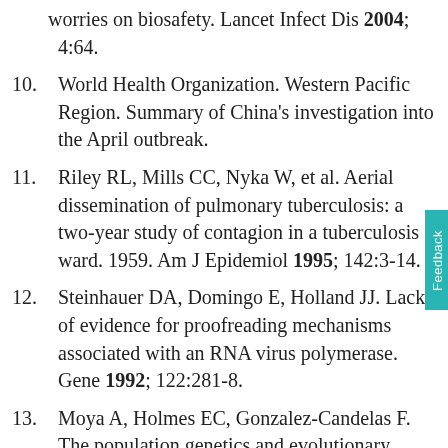worries on biosafety. Lancet Infect Dis 2004; 4:64.
10. World Health Organization. Western Pacific Region. Summary of China's investigation into the April outbreak.
11. Riley RL, Mills CC, Nyka W, et al. Aerial dissemination of pulmonary tuberculosis: a two-year study of contagion in a tuberculosis ward. 1959. Am J Epidemiol 1995; 142:3-14.
12. Steinhauer DA, Domingo E, Holland JJ. Lack of evidence for proofreading mechanisms associated with an RNA virus polymerase. Gene 1992; 122:281-8.
13. Moya A, Holmes EC, Gonzalez-Candelas F. The population genetics and evolutionary epidemiology of RNA viruses. Nat Rev Microbiol 2004; 2:279-88.
14. Hartzell JD, Oster CN, Gaydos JC. How contagious are common respiratory tract infections? N Engl…